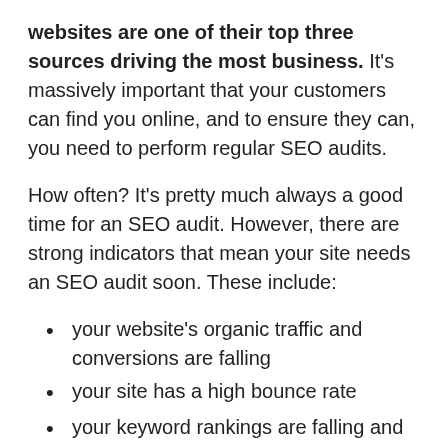websites are one of their top three sources driving the most business. It's massively important that your customers can find you online, and to ensure they can, you need to perform regular SEO audits.
How often? It's pretty much always a good time for an SEO audit. However, there are strong indicators that mean your site needs an SEO audit soon. These include:
your website's organic traffic and conversions are falling
your site has a high bounce rate
your keyword rankings are falling and you don't know why
customer satisfaction is declining. Research